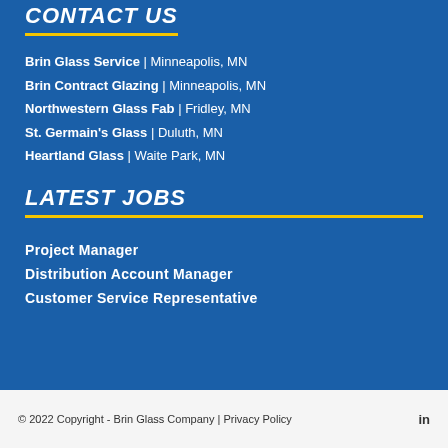CONTACT US
Brin Glass Service | Minneapolis, MN
Brin Contract Glazing | Minneapolis, MN
Northwestern Glass Fab | Fridley, MN
St. Germain's Glass | Duluth, MN
Heartland Glass | Waite Park, MN
LATEST JOBS
Project Manager
Distribution Account Manager
Customer Service Representative
© 2022 Copyright - Brin Glass Company | Privacy Policy